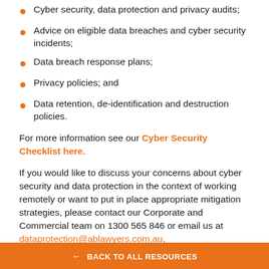Cyber security, data protection and privacy audits;
Advice on eligible data breaches and cyber security incidents;
Data breach response plans;
Privacy policies; and
Data retention, de-identification and destruction policies.
For more information see our Cyber Security Checklist here.
If you would like to discuss your concerns about cyber security and data protection in the context of working remotely or want to put in place appropriate mitigation strategies, please contact our Corporate and Commercial team on 1300 565 846 or email us at dataprotection@ablawyers.com.au.
← BACK TO ALL RESOURCES